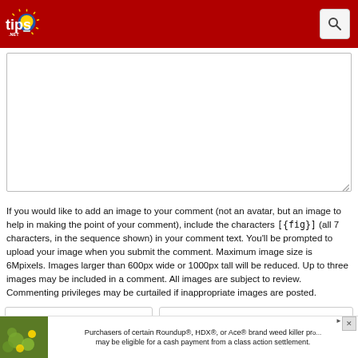tips.NET
[Figure (screenshot): Large comment text area input box with resize handle]
If you would like to add an image to your comment (not an avatar, but an image to help in making the point of your comment), include the characters [{fig}] (all 7 characters, in the sequence shown) in your comment text. You'll be prompted to upload your image when you submit the comment. Maximum image size is 6Mpixels. Images larger than 600px wide or 1000px tall will be reduced. Up to three images may be included in a comment. All images are subject to review. Commenting privileges may be curtailed if inappropriate images are posted.
[Figure (screenshot): Name and Email input fields side by side]
Notify me about new comments
What is five
[Figure (screenshot): Answer input box for captcha]
Y FOR THIS TIP
[Figure (screenshot): Advertisement banner: Purchasers of certain Roundup®, HDX®, or Ace® brand weed killer products may be eligible for a cash payment from a class action settlement.]